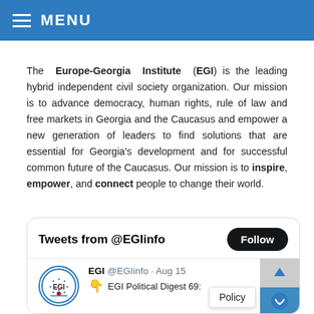MENU
The Europe-Georgia Institute (EGI) is the leading hybrid independent civil society organization. Our mission is to advance democracy, human rights, rule of law and free markets in Georgia and the Caucasus and empower a new generation of leaders to find solutions that are essential for Georgia's development and for successful common future of the Caucasus. Our mission is to inspire, empower, and connect people to change their world.
[Figure (screenshot): Twitter/X widget showing 'Tweets from @EGIinfo' with a Follow button, and a tweet from EGI @EGIinfo dated Aug 15 about EGI Political Digest 69, with a Policy popup visible and a scroll button on the right.]